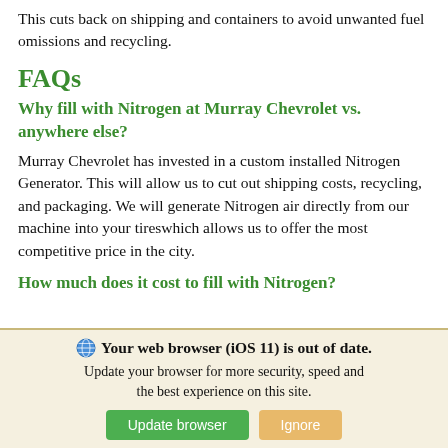This cuts back on shipping and containers to avoid unwanted fuel omissions and recycling.
FAQs
Why fill with Nitrogen at Murray Chevrolet vs. anywhere else?
Murray Chevrolet has invested in a custom installed Nitrogen Generator. This will allow us to cut out shipping costs, recycling, and packaging. We will generate Nitrogen air directly from our machine into your tireswhich allows us to offer the most competitive price in the city.
How much does it cost to fill with Nitrogen?
Your web browser (iOS 11) is out of date. Update your browser for more security, speed and the best experience on this site.